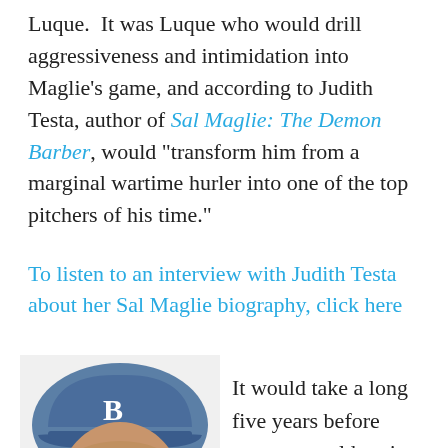Luque.  It was Luque who would drill aggressiveness and intimidation into Maglie's game, and according to Judith Testa, author of Sal Maglie: The Demon Barber, would "transform him from a marginal wartime hurler into one of the top pitchers of his time."
To listen to an interview with Judith Testa about her Sal Maglie biography, click here
[Figure (illustration): Illustrated portrait of a baseball player wearing a blue cap with a 'B' logo, shown from roughly the shoulders up, with an intense expression.]
It would take a long five years before anyone would notice, because Maglie would make the incredibly costly